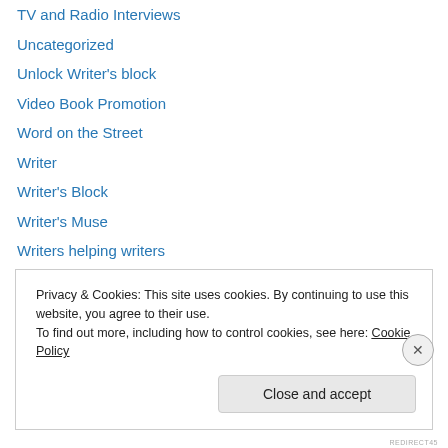TV and Radio Interviews
Uncategorized
Unlock Writer's block
Video Book Promotion
Word on the Street
Writer
Writer's Block
Writer's Muse
Writers helping writers
Writers in COVID-29 Times
Writing
Writing at Christmas
Writing Conferences
Privacy & Cookies: This site uses cookies. By continuing to use this website, you agree to their use.
To find out more, including how to control cookies, see here: Cookie Policy
Close and accept